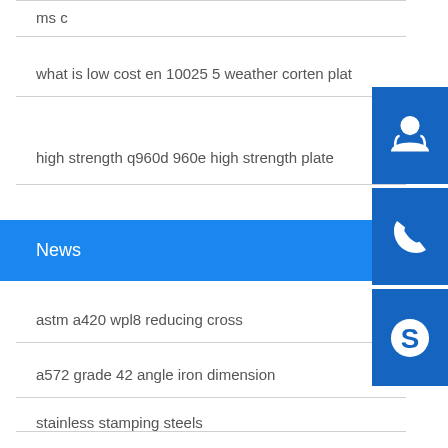ms c
what is low cost en 10025 5 weather corten plat…
high strength q960d 960e high strength plate
News
astm a420 wpl8 reducing cross
a572 grade 42 angle iron dimension
stainless stamping steels
st52 3 din properties
best abs e suppliers